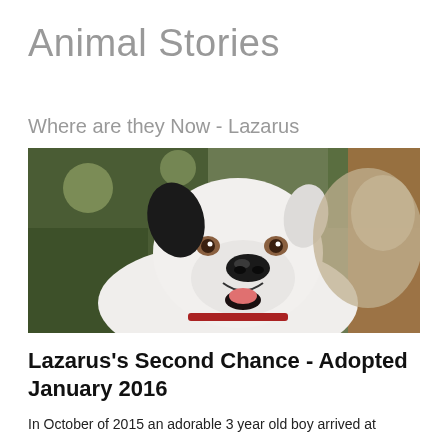Animal Stories
Where are they Now - Lazarus
[Figure (photo): A white pit bull dog with a black ear, smiling with mouth open and tongue showing, wearing a red collar, photographed outdoors with a blurred green background. A second dog is partially visible in the background.]
Lazarus's Second Chance - Adopted January 2016
In October of 2015 an adorable 3 year old boy arrived at